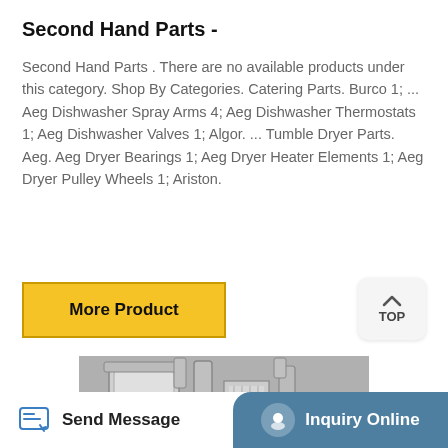Second Hand Parts -
Second Hand Parts . There are no available products under this category. Shop By Categories. Catering Parts. Burco 1; ... Aeg Dishwasher Spray Arms 4; Aeg Dishwasher Thermostats 1; Aeg Dishwasher Valves 1; Algor. ... Tumble Dryer Parts. Aeg. Aeg Dryer Bearings 1; Aeg Dryer Heater Elements 1; Aeg Dryer Pulley Wheels 1; Ariston.
[Figure (screenshot): Yellow 'More Product' button and a rounded 'TOP' back-to-top button]
[Figure (photo): Industrial machine with metal cylinders, pipes and components]
Send Message | Inquiry Online